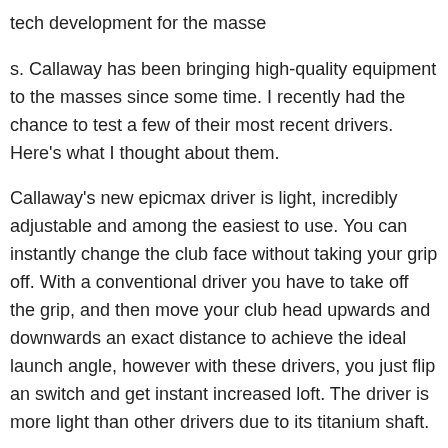tech development for the masse
s. Callaway has been bringing high-quality equipment to the masses since some time. I recently had the chance to test a few of their most recent drivers. Here's what I thought about them.
Callaway's new epicmax driver is light, incredibly adjustable and among the easiest to use. You can instantly change the club face without taking your grip off. With a conventional driver you have to take off the grip, and then move your club head upwards and downwards an exact distance to achieve the ideal launch angle, however with these drivers, you just flip an switch and get instant increased loft. The driver is more light than other drivers due to its titanium shaft.